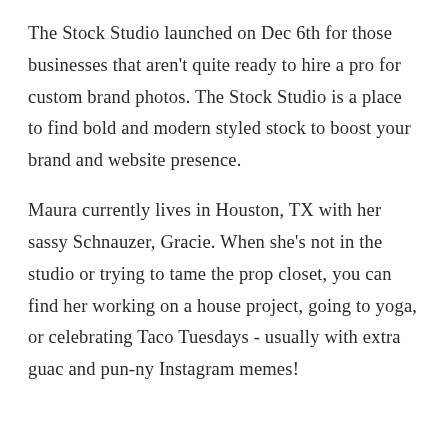The Stock Studio launched on Dec 6th for those businesses that aren't quite ready to hire a pro for custom brand photos. The Stock Studio is a place to find bold and modern styled stock to boost your brand and website presence.
Maura currently lives in Houston, TX with her sassy Schnauzer, Gracie. When she's not in the studio or trying to tame the prop closet, you can find her working on a house project, going to yoga, or celebrating Taco Tuesdays - usually with extra guac and pun-ny Instagram memes!